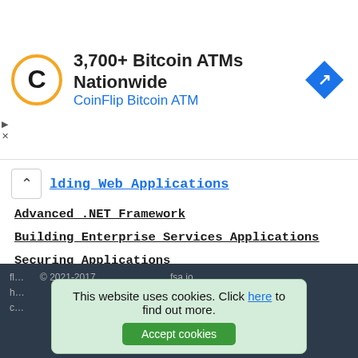[Figure (other): Advertisement banner for CoinFlip Bitcoin ATM: '3,700+ Bitcoin ATMs Nationwide' with CoinFlip logo and navigation icon]
lding Web Applications
Advanced .NET Framework
Building Enterprise Services Applications
Securing Applications
Coding Conventions
FILE SYSTEM FORENSIC ANALYSIS
Analysis Considerations
File Name Category
Content Category
The Big Picture
UFS1 Superblock
This website uses cookies. Click here to find out more. [Accept cookies]